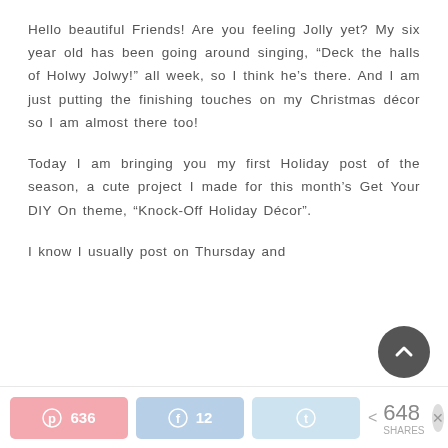Hello beautiful Friends! Are you feeling Jolly yet? My six year old has been going around singing, “Deck the halls of Holwy Jolwy!” all week, so I think he’s there. And I am just putting the finishing touches on my Christmas décor so I am almost there too!
Today I am bringing you my first Holiday post of the season, a cute project I made for this month’s Get Your DIY On theme, “Knock-Off Holiday Décor”.
I know I usually post on Thursday and
[Figure (other): Scroll-to-top circular button with upward chevron arrow, dark grey background]
Pinterest 636  Facebook 12  Twitter  < 648 SHARES  X